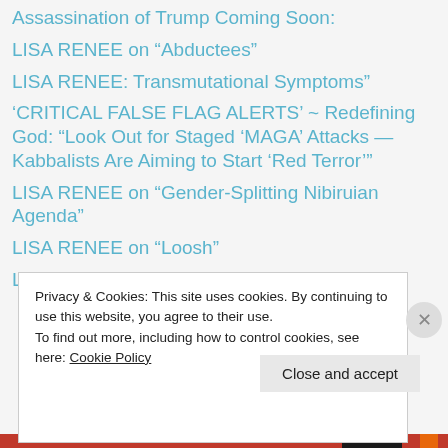Assassination of Trump Coming Soon:
LISA RENEE on "Abductees"
LISA RENEE: Transmutational Symptoms"
'CRITICAL FALSE FLAG ALERTS' ~ Redefining God: “Look Out for Staged ‘MAGA’ Attacks — Kabbalists Are Aiming to Start ‘Red Terror’"
LISA RENEE on “Gender-Splitting Nibiruian Agenda”
LISA RENEE on “Loosh”
LISA RENEE: “Archangel Michael Matrix”
Privacy & Cookies: This site uses cookies. By continuing to use this website, you agree to their use.
To find out more, including how to control cookies, see here: Cookie Policy
Close and accept